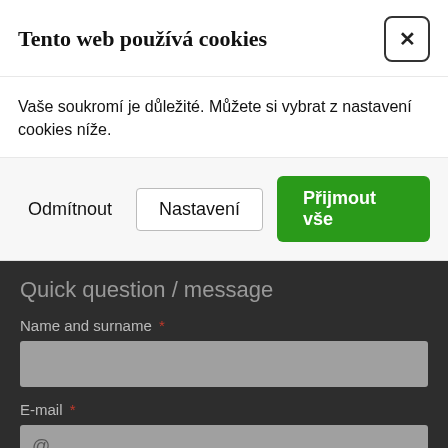[Figure (map): Top map strip showing a portion of a city map with green areas and a label 'PRAGUE 3']
Tento web používá cookies
Vaše soukromí je důležité. Můžete si vybrat z nastavení cookies níže.
Odmítnout | Nastavení | Přijmout vše
Quick question / message
Name and surname *
E-mail *